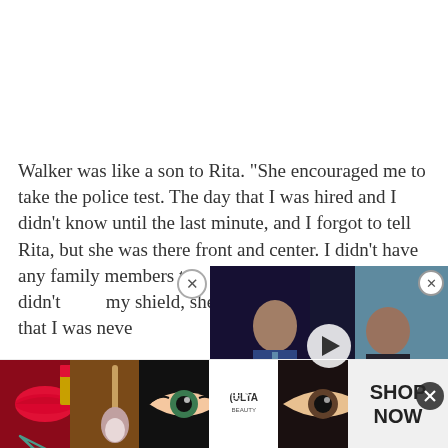Walker was like a son to Rita. "She encouraged me to take the police test. The day that I was hired and I didn't know until the last minute, and I forgot to tell Rita, but she was there front and center. I didn't have any family members to... me know that since I didn't... my shield, she would have... She told me that I was neve... would always be there for me."
[Figure (screenshot): Embedded video player overlay showing two men in suits on a TV news set with Wall Street label, with a play button in the center and a close button.]
[Figure (photo): Advertisement banner for ULTA Beauty showing makeup imagery including lips, brushes, eyes, the ULTA logo, and a SHOP NOW button.]